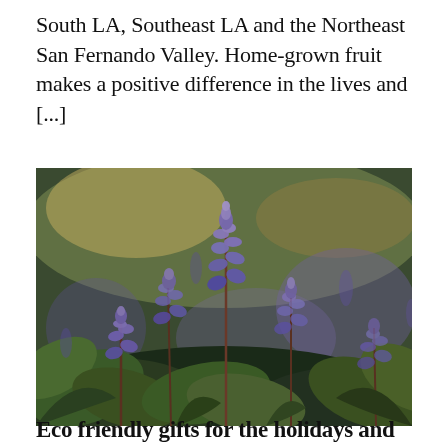South LA, Southeast LA and the Northeast San Fernando Valley. Home-grown fruit makes a positive difference in the lives and [...]
[Figure (photo): Close-up photograph of purple lupine flowers in bloom, with green foliage, set against a soft blurred background of more purple flowers and greenery.]
Eco friendly gifts for the holidays and